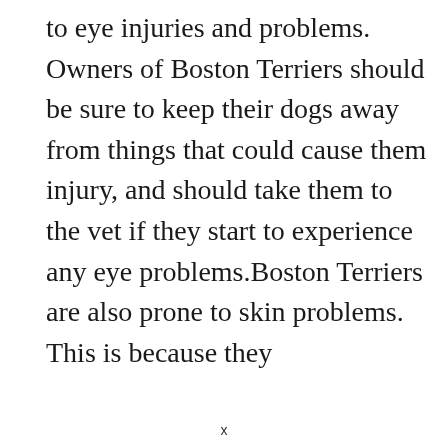to eye injuries and problems. Owners of Boston Terriers should be sure to keep their dogs away from things that could cause them injury, and should take them to the vet if they start to experience any eye problems.Boston Terriers are also prone to skin problems. This is because they
x